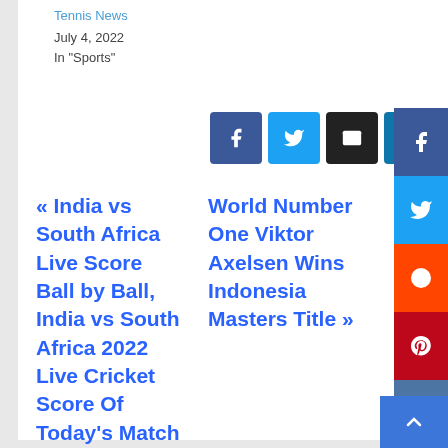Tennis News
July 4, 2022
In "Sports"
[Figure (other): Social share buttons: Facebook, Twitter, Email, LinkedIn, Telegram, Pinterest]
« India vs South Africa Live Score Ball by Ball, India vs South Africa 2022 Live Cricket Score Of Today's Match on NDTV Sports
World Number One Viktor Axelsen Wins Indonesia Masters Title »
[Figure (other): Right sidebar social share buttons: Facebook, Twitter, Reddit, Pinterest, VK, Email, and back-to-top button]